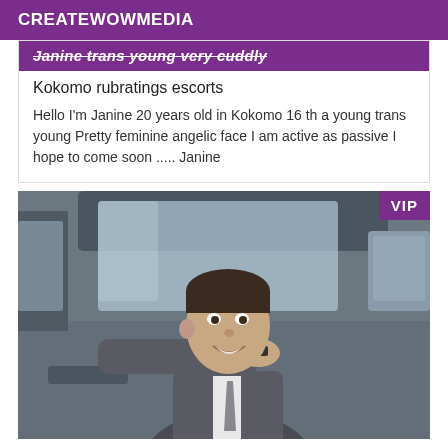CREATEWOWMEDIA
Janine trans young very cuddly
Kokomo rubratings escorts
Hello I'm Janine 20 years old in Kokomo 16 th a young trans young Pretty feminine angelic face I am active as passive I hope to come soon ..... Janine
[Figure (photo): Young man in a suit sitting in a car, smiling, leaning out the window. VIP badge in top right corner.]